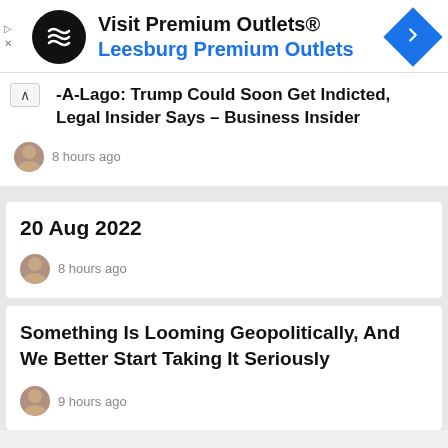[Figure (infographic): Ad banner: Visit Premium Outlets® / Leesburg Premium Outlets with logo and navigation arrow icon]
-A-Lago: Trump Could Soon Get Indicted, Legal Insider Says – Business Insider
8 hours ago
20 Aug 2022
8 hours ago
Something Is Looming Geopolitically, And We Better Start Taking It Seriously
9 hours ago